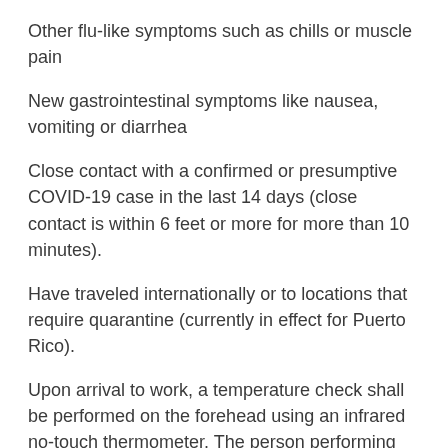Other flu-like symptoms such as chills or muscle pain
New gastrointestinal symptoms like nausea, vomiting or diarrhea
Close contact with a confirmed or presumptive COVID-19 case in the last 14 days (close contact is within 6 feet or more for more than 10 minutes).
Have traveled internationally or to locations that require quarantine (currently in effect for Puerto Rico).
Upon arrival to work, a temperature check shall be performed on the forehead using an infrared no-touch thermometer. The person performing the check shall wear a face covering and gloves. If the temperature check is performed indoors, the Staff member arriving for work shall also wear a face covering. If a Staff